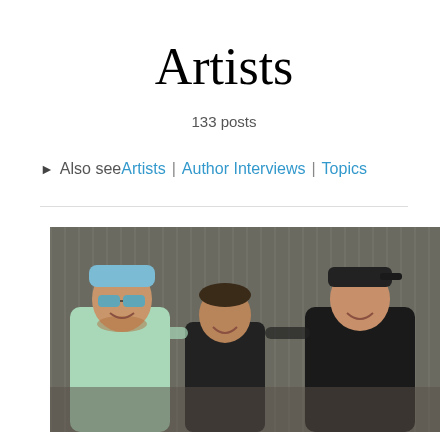Artists
133 posts
▶ Also see Artists | Author Interviews | Topics
[Figure (photo): Three men posing together smiling. Left person wearing a light blue cap, green-mirrored sunglasses and mint green t-shirt. Middle person shorter, wearing black shirt. Right person wearing black backwards cap and black sleeveless shirt. Background appears to be an industrial or barn-like setting.]